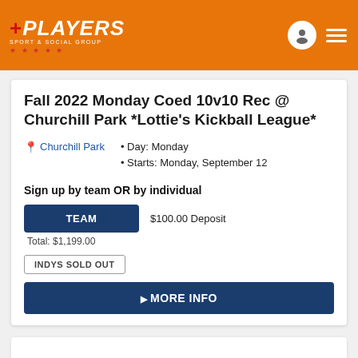Players Sport & Social Group
Fall 2022 Monday Coed 10v10 Rec @ Churchill Park *Lottie's Kickball League*
Churchill Park • Day: Monday • Starts: Monday, September 12
Sign up by team OR by individual
TEAM $100.00 Deposit Total: $1,199.00
INDYS SOLD OUT
MORE INFO